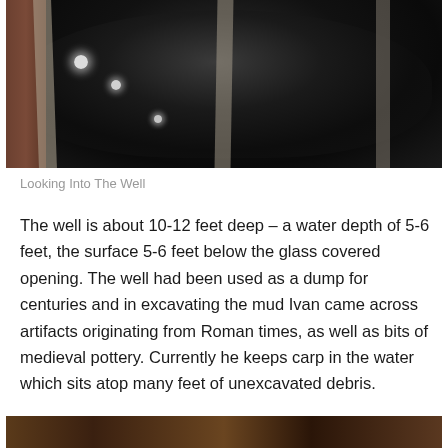[Figure (photo): A dark photograph looking down into a stone well with a glass-covered opening, wooden beams visible, reflecting light spots on dark water below.]
Looking Into The Well
The well is about 10-12 feet deep – a water depth of 5-6 feet, the surface 5-6 feet below the glass covered opening. The well had been used as a dump for centuries and in excavating the mud Ivan came across artifacts originating from Roman times, as well as bits of medieval pottery. Currently he keeps carp in the water which sits atop many feet of unexcavated debris.
[Figure (photo): Partial view of another photograph at the bottom of the page, showing a dimly lit interior scene.]